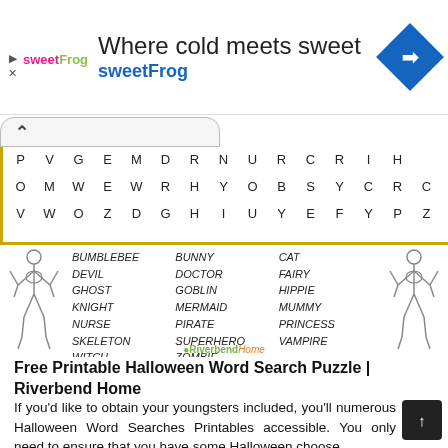[Figure (screenshot): SweetFrog advertisement banner: logo, title 'Where cold meets sweet', subtitle 'sweetFrog', navigation icon]
[Figure (other): Halloween word search puzzle grid with letters, skeleton illustrations on both sides, and a word list including BUMBLEBEE, DEVIL, GHOST, KNIGHT, NURSE, SKELETON, WITCH, BUNNY, DOCTOR, GOBLIN, MERMAID, PIRATE, SUPERHERO, ZOMBIE, CAT, FAIRY, HIPPIE, MUMMY, PRINCESS, VAMPIRE. Riverbend Home logo at bottom.]
Free Printable Halloween Word Search Puzzle | Riverbend Home
If you'd like to obtain your youngsters included, you'll numerous Halloween Word Searches Printables accessible. You only need to ensure that you have some Halloween choose